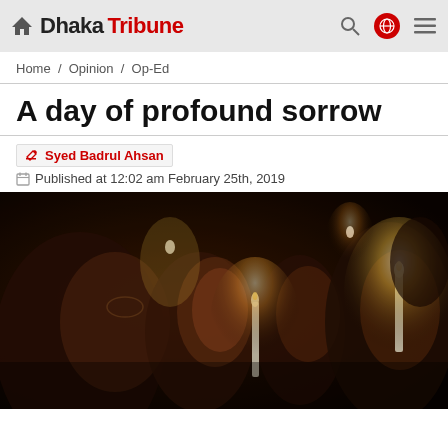Dhaka Tribune – Home / Opinion / Op-Ed
A day of profound sorrow
✎ Syed Badrul Ahsan
Published at 12:02 am February 25th, 2019
[Figure (photo): People holding candles at a candlelight vigil. Multiple individuals are pictured in profile against a dark background, holding lit white candles, evoking a somber memorial atmosphere.]